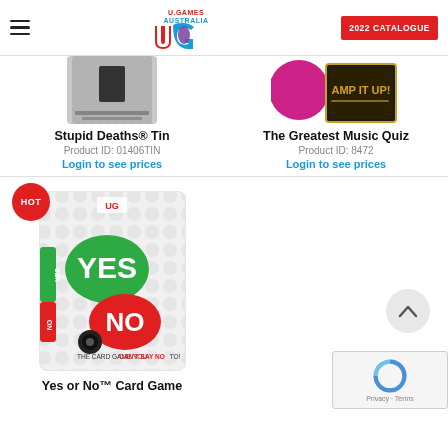U.Games Australia — 2022 CATALOGUE
[Figure (photo): Partial product image of Stupid Deaths Tin game box (top portion cut off)]
Stupid Deaths® Tin
Product ID: 01406TIN
Login to see prices
[Figure (photo): Partial product image of The Greatest Music Quiz game box with AMP IT UP! label visible]
The Greatest Music Quiz
Product ID: 8472
Login to see prices
[Figure (photo): Yes or No Card Game box with HOT badge. Box shows YES in green speech bubble and NO in red speech bubble, tagline: THE CARD GAME YOU CAN'T SAY NO TO!]
Yes or No™ Card Game